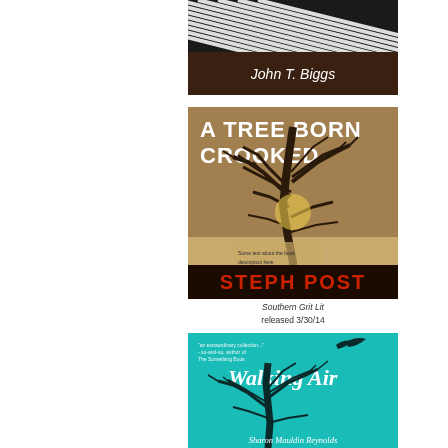[Figure (illustration): Partial book cover showing author name John T. Biggs with black and white striped design at top]
[Figure (illustration): Book cover for 'A Tree Born Crooked' by Steph Post, featuring a bare tree silhouette against a warm brown/tan background with dark red author name at bottom]
Southern Grit Lit
released 3/30/14
[Figure (illustration): Book cover for 'Walking Air' by Sharon Mauldin Reynolds, featuring a teal/turquoise background with bare tree silhouette and flying bird, title in cursive script]